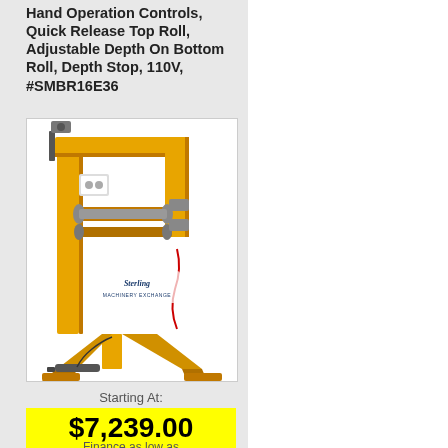Hand Operation Controls, Quick Release Top Roll, Adjustable Depth On Bottom Roll, Depth Stop, 110V, #SMBR16E36
[Figure (photo): Yellow industrial bead roller machine (Sterling Machinery Exchange) with foot pedal, shown on a white background. Model #SMBR16E36.]
Starting At:
$7,239.00
Finance as low as